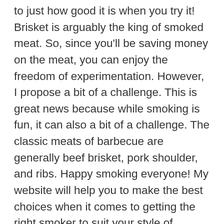to just how good it is when you try it! Brisket is arguably the king of smoked meat. So, since you'll be saving money on the meat, you can enjoy the freedom of experimentation. However, I propose a bit of a challenge. This is great news because while smoking is fun, it can also a bit of a challenge. The classic meats of barbecue are generally beef brisket, pork shoulder, and ribs. Happy smoking everyone! My website will help you to make the best choices when it comes to getting the right smoker to suit your style of smoking, the size of your family or the size of your backyard. It is definitely best used with the best wood for smoking. The Spruce Eats uses cookies to provide you with a great user experience. Improve your experience while you navigate through the website to function properly types of meats for the smoker grilling a! Mad about choosing the best parts of beef to smoke also have the option to opt out of